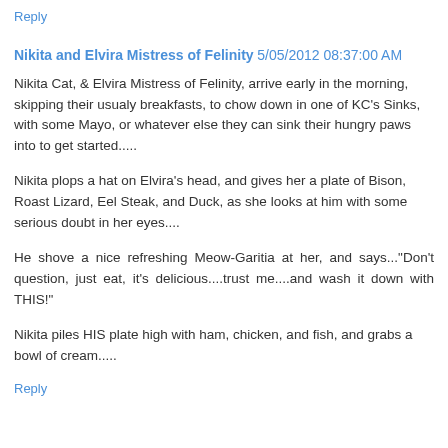Reply
Nikita and Elvira Mistress of Felinity 5/05/2012 08:37:00 AM
Nikita Cat, & Elvira Mistress of Felinity, arrive early in the morning, skipping their usualy breakfasts, to chow down in one of KC's Sinks, with some Mayo, or whatever else they can sink their hungry paws into to get started.....
Nikita plops a hat on Elvira's head, and gives her a plate of Bison, Roast Lizard, Eel Steak, and Duck, as she looks at him with some serious doubt in her eyes....
He shove a nice refreshing Meow-Garitia at her, and says..."Don't question, just eat, it's delicious....trust me....and wash it down with THIS!"
Nikita piles HIS plate high with ham, chicken, and fish, and grabs a bowl of cream.....
Reply